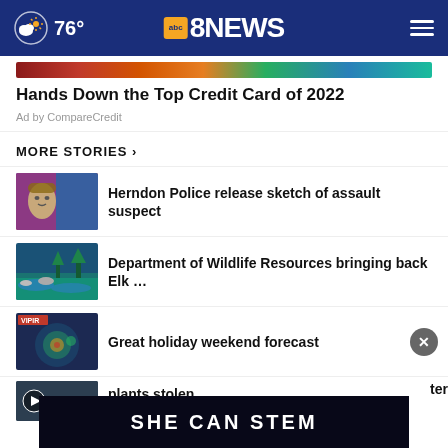76° | ABC8 NEWS
[Figure (screenshot): Partial ad image strip with colorful gradient]
Hands Down the Top Credit Card of 2022
Ad by CompareCredit
MORE STORIES ›
[Figure (photo): Thumbnail image of a police sketch of assault suspect]
Herndon Police release sketch of assault suspect
[Figure (photo): Thumbnail image of wildlife/river scene]
Department of Wildlife Resources bringing back Elk …
[Figure (photo): Thumbnail image of weather/VIPIR radar]
Great holiday weekend forecast
[Figure (screenshot): Bottom ad banner: SHE CAN STEM]
ter plants stolen